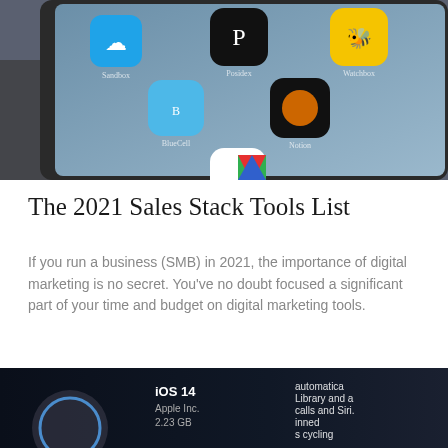[Figure (photo): Close-up photo of a smartphone screen showing various app icons including cloud storage, productivity, and navigation apps on a blue-tinted background]
The 2021 Sales Stack Tools List
If you run a business (SMB) in 2021, the importance of digital marketing is no secret. You've no doubt focused a significant part of your time and budget on digital marketing tools.
[Figure (photo): Close-up photo of a smartphone screen showing iOS 14, Apple Inc., 2.23 GB update information with text about automatic updates, App Library, Siri, phone calls, and cycling improvements]